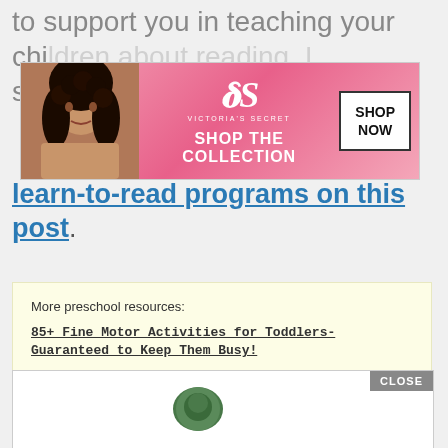to support you in teaching your children about reading, I suggest checking out the
[Figure (photo): Victoria's Secret advertisement banner with model, logo, 'SHOP THE COLLECTION' text, and 'SHOP NOW' button]
learn-to-read programs on this post.
More preschool resources:
85+ Fine Motor Activities for Toddlers- Guaranteed to Keep Them Busy!
Books about Nature for Kids: 50+ Recommendations for all Ages!
Homeschooling Preschool: 5 Tips to Get You Started
[Figure (screenshot): Bottom box with close button and Seamless food delivery advertisement]
[Figure (photo): Seamless food delivery advertisement with pizza image, seamless logo, and ORDER NOW button]